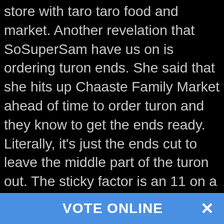store with taro taro food and market. Another revelation that SoSuperSam have us on is ordering turon ends. She said that she hits up Chaaste Family Market ahead of time to order turon and they know to get the ends ready. Literally, it's just the ends cut to leave the middle part of the turon out. The sticky factor is an 11 on a scale of 1-10, the turon was not going anywhere. They offer various flavors like Oreo, custard, jelly-filled, and the standard banana and jackfruit option. Then pair turon with your favorite Filipino ice cream flavor or Shan's recommendation, coffee. Either paired up or if you have it by itself, the trio all agreed "the glaze don't play."
VOTE ONLINE